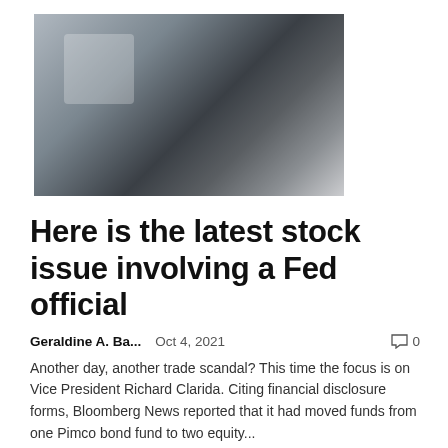[Figure (photo): Black and white photograph of a man in a suit looking upward, likely Richard Clarida]
Here is the latest stock issue involving a Fed official
Geraldine A. Ba...   Oct 4, 2021   💬 0
Another day, another trade scandal? This time the focus is on Vice President Richard Clarida. Citing financial disclosure forms, Bloomberg News reported that it had moved funds from one Pimco bond fund to two equity...
« OLDER POSTS
Categories